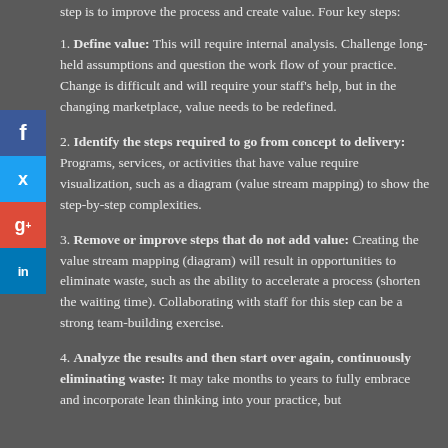step is to improve the process and create value. Four key steps:
1. Define value: This will require internal analysis. Challenge long-held assumptions and question the work flow of your practice. Change is difficult and will require your staff's help, but in the changing marketplace, value needs to be redefined.
2. Identify the steps required to go from concept to delivery: Programs, services, or activities that have value require visualization, such as a diagram (value stream mapping) to show the step-by-step complexities.
3. Remove or improve steps that do not add value: Creating the value stream mapping (diagram) will result in opportunities to eliminate waste, such as the ability to accelerate a process (shorten the waiting time). Collaborating with staff for this step can be a strong team-building exercise.
4. Analyze the results and then start over again, continuously eliminating waste: It may take months to years to fully embrace and incorporate lean thinking into your practice, but